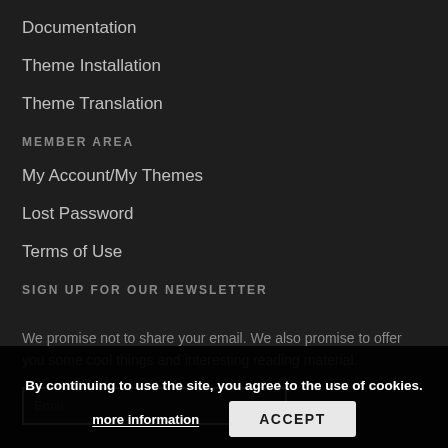Documentation
Theme Installation
Theme Translation
MEMBER AREA
My Account/My Themes
Lost Password
Terms of Use
SIGN UP FOR OUR NEWSLETTER
We promise not to share your email. We also promise to offer you some cool things and interesting reading material.
By continuing to use the site, you agree to the use of cookies.
more information
ACCEPT